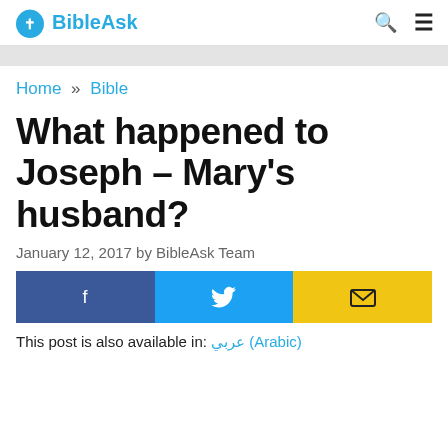BibleAsk
Home » Bible
What happened to Joseph – Mary's husband?
January 12, 2017 by BibleAsk Team
[Figure (other): Social share buttons: Facebook (blue), Twitter (cyan), Email (yellow)]
This post is also available in: عربي (Arabic)